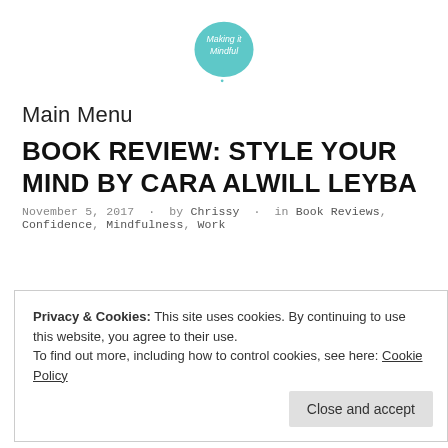[Figure (logo): Teal speech bubble logo with text 'Making it Mindful' in white]
Main Menu
BOOK REVIEW: STYLE YOUR MIND BY CARA ALWILL LEYBA
November 5, 2017 · by Chrissy · in Book Reviews, Confidence, Mindfulness, Work
Privacy & Cookies: This site uses cookies. By continuing to use this website, you agree to their use.
To find out more, including how to control cookies, see here: Cookie Policy
Close and accept